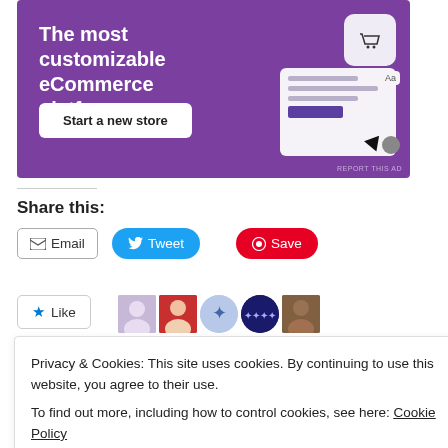[Figure (illustration): Purple eCommerce platform advertisement banner with text 'The most customizable eCommerce platform', a 'Start a new store' button, and UI mockup graphics with cart icon.]
Share this:
Email  Tweet  Save
Like
5 bloggers like this.
Privacy & Cookies: This site uses cookies. By continuing to use this website, you agree to their use.
To find out more, including how to control cookies, see here: Cookie Policy
Close and accept